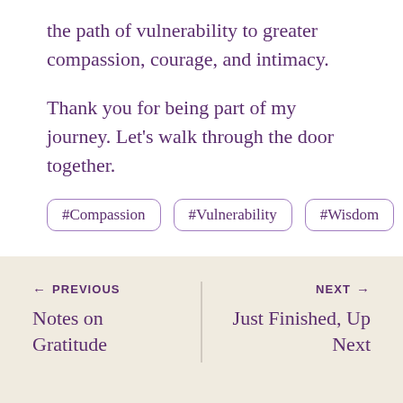the path of vulnerability to greater compassion, courage, and intimacy.
Thank you for being part of my journey. Let's walk through the door together.
#Compassion
#Vulnerability
#Wisdom
← PREVIOUS  Notes on Gratitude  |  NEXT →  Just Finished, Up Next